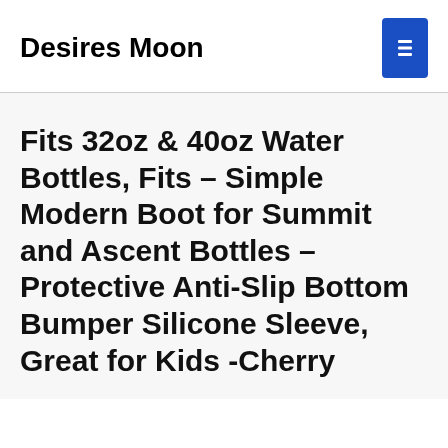Desires Moon
Fits 32oz & 40oz Water Bottles, Fits – Simple Modern Boot for Summit and Ascent Bottles – Protective Anti-Slip Bottom Bumper Silicone Sleeve, Great for Kids -Cherry